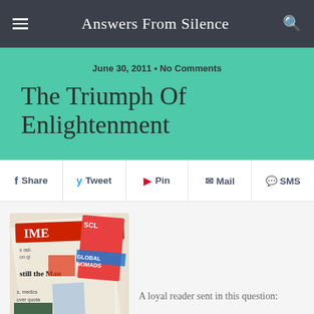Answers From Silence
June 30, 2011 • No Comments
The Triumph Of Enlightenment
Share  Tweet  Pin  Mail  SMS
[Figure (photo): Collage of newspaper front pages with visible headlines including TIME, Global Nomads, 'still the Man', 'medics over quota']
A loyal reader sent in this question: